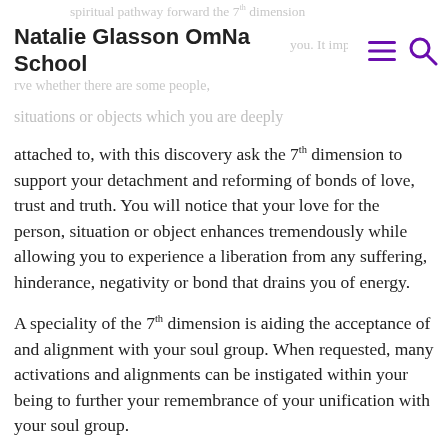Natalie Glasson OmNa School
situations or objects which you are deeply attached to, with this discovery ask the 7th dimension to support your detachment and reforming of bonds of love, trust and truth. You will notice that your love for the person, situation or object enhances tremendously while allowing you to experience a liberation from any suffering, hinderance, negativity or bond that drains you of energy.
A speciality of the 7th dimension is aiding the acceptance of and alignment with your soul group. When requested, many activations and alignments can be instigated within your being to further your remembrance of your unification with your soul group.